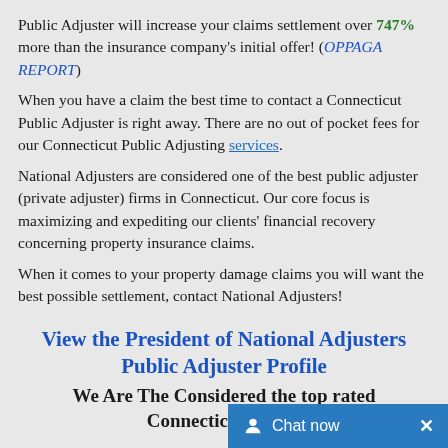Public Adjuster will increase your claims settlement over 747% more than the insurance company's initial offer! (OPPAGA REPORT)
When you have a claim the best time to contact a Connecticut Public Adjuster is right away. There are no out of pocket fees for our Connecticut Public Adjusting services.
National Adjusters are considered one of the best public adjuster (private adjuster) firms in Connecticut. Our core focus is maximizing and expediting our clients' financial recovery concerning property insurance claims.
When it comes to your property damage claims you will want the best possible settlement, contact National Adjusters!
View the President of National Adjusters Public Adjuster Profile
We Are The Considered the top rated Connecticut Publi...